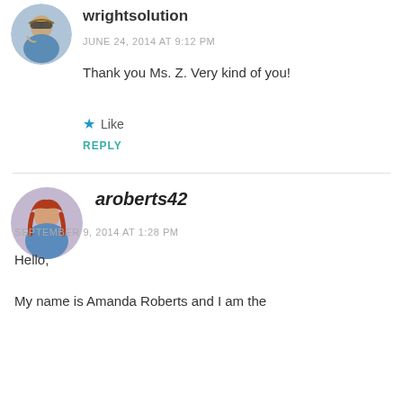[Figure (photo): Circular avatar of wrightsolution user – woman with sunglasses outdoors]
wrightsolution
JUNE 24, 2014 AT 9:12 PM
Thank you Ms. Z. Very kind of you!
★ Like
REPLY
[Figure (photo): Circular avatar of aroberts42 user – woman with red/auburn hair]
aroberts42
SEPTEMBER 9, 2014 AT 1:28 PM
Hello,
My name is Amanda Roberts and I am the